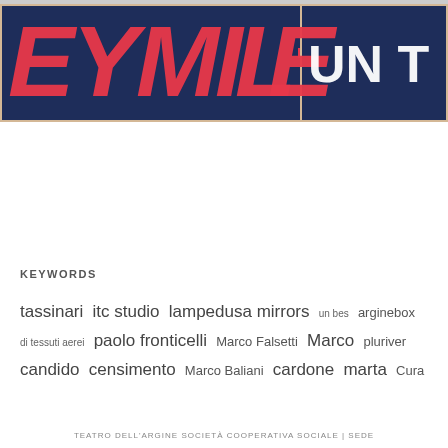[Figure (photo): Panoramic banner image with dark navy blue background and large red hand-painted letters spelling partial text 'E Y MLIE-' and 'UN T' on the right. The letters have a rough, brush-stroke texture. The image appears to be a theatre or event promotional banner.]
KEYWORDS
tassinari  itc studio  lampedusa mirrors  un bes  arginebox  di tessuti aerei  paolo fronticelli  Marco Falsetti  Marco  pluriver  candido  censimento  Marco Baliani  cardone  marta  Cura
TEATRO DELL'ARGINE SOCIETÀ COOPERATIVA SOCIALE | SEDE